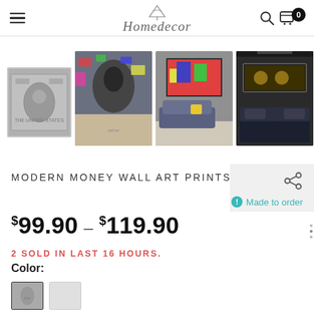Homedecor — navigation bar with hamburger menu, logo, search and cart icons
[Figure (photo): Four product photos of Modern Money Wall Art Prints shown as a horizontal thumbnail strip: first image is a black-and-white $100 bill canvas print, second is a colorful graffiti portrait on wall above sofa, third is a colorful pop-art collage canvas in a living room, fourth is a dark/gold framed canvas in a bedroom.]
MODERN MONEY WALL ART PRINTS
Made to order
$99.90 – $119.90
2 SOLD IN LAST 16 HOURS.
Color: